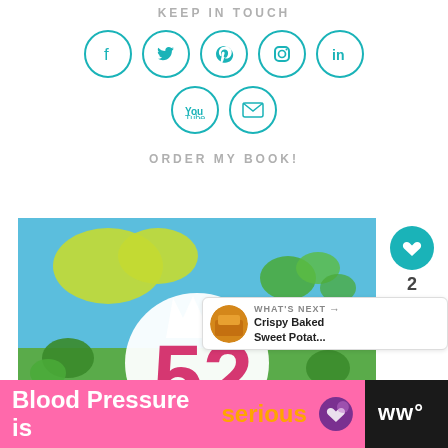KEEP IN TOUCH
[Figure (illustration): Seven social media icons in teal circles: Facebook, Twitter, Pinterest, Instagram, LinkedIn (row 1), YouTube, Email (row 2)]
ORDER MY BOOK!
[Figure (photo): Book cover with colorful vegetable/plant illustrations on blue and green background with large pink number 52]
2
WHAT'S NEXT → Crispy Baked Sweet Potat...
Blood Pressure is serious